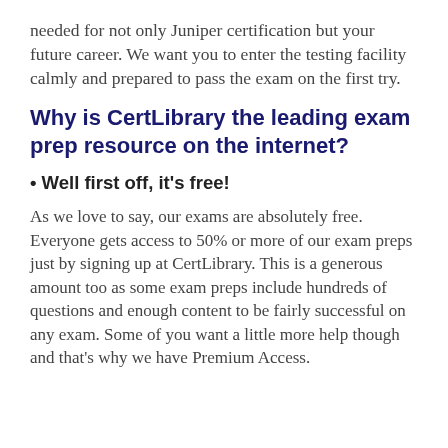needed for not only Juniper certification but your future career. We want you to enter the testing facility calmly and prepared to pass the exam on the first try.
Why is CertLibrary the leading exam prep resource on the internet?
• Well first off, it's free!
As we love to say, our exams are absolutely free. Everyone gets access to 50% or more of our exam preps just by signing up at CertLibrary. This is a generous amount too as some exam preps include hundreds of questions and enough content to be fairly successful on any exam. Some of you want a little more help though and that's why we have Premium Access.